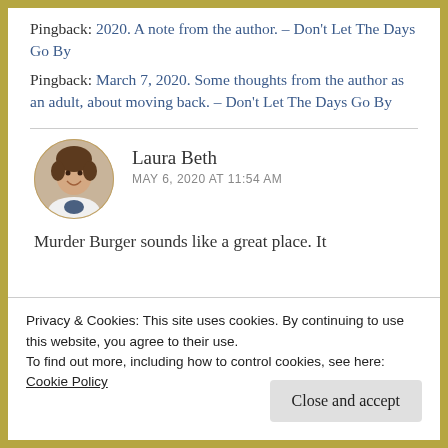Pingback: 2020. A note from the author. – Don't Let The Days Go By
Pingback: March 7, 2020. Some thoughts from the author as an adult, about moving back. – Don't Let The Days Go By
[Figure (photo): Circular avatar photo of Laura Beth, a woman smiling, wearing a white jacket, standing in front of a brick wall with green foliage.]
Laura Beth
MAY 6, 2020 AT 11:54 AM
Murder Burger sounds like a great place. It
Privacy & Cookies: This site uses cookies. By continuing to use this website, you agree to their use.
To find out more, including how to control cookies, see here:
Cookie Policy